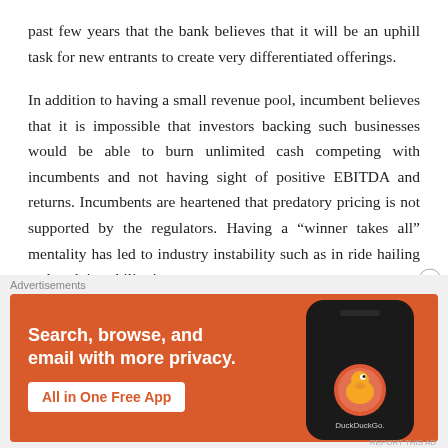past few years that the bank believes that it will be an uphill task for new entrants to create very differentiated offerings.
In addition to having a small revenue pool, incumbent believes that it is impossible that investors backing such businesses would be able to burn unlimited cash competing with incumbents and not having sight of positive EBITDA and returns. Incumbents are heartened that predatory pricing is not supported by the regulators. Having a "winner takes all" mentality has led to industry instability such as in ride hailing and such instability is
[Figure (other): DuckDuckGo advertisement banner with orange background. Text reads: 'Search, browse, and email with more privacy. All in One Free App'. Shows a smartphone with DuckDuckGo logo.]